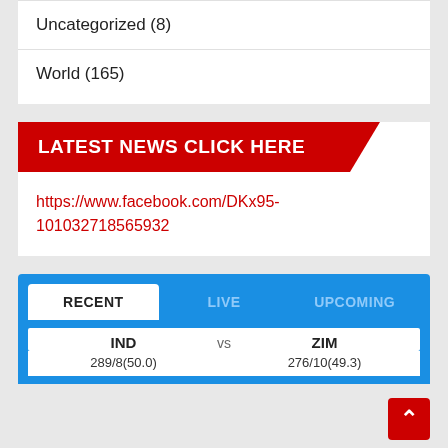Uncategorized (8)
World (165)
LATEST NEWS CLICK HERE
https://www.facebook.com/DKx95-101032718565932
RECENT   LIVE   UPCOMING
IND vs ZIM
289/8(50.0)   276/10(49.3)